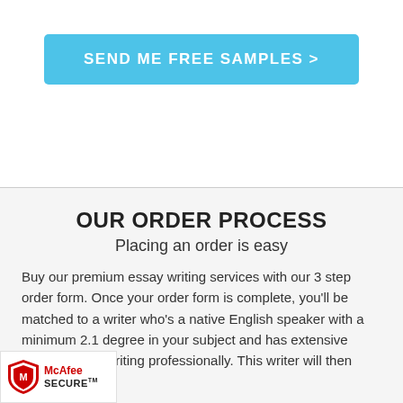[Figure (other): Blue call-to-action button labeled SEND ME FREE SAMPLES >]
OUR ORDER PROCESS
Placing an order is easy
Buy our premium essay writing services with our 3 step order form. Once your order form is complete, you'll be matched to a writer who's a native English speaker with a minimum 2.1 degree in your subject and has extensive experience in writing professionally. This writer will then start writing
[Figure (logo): McAfee SECURE badge with shield logo]